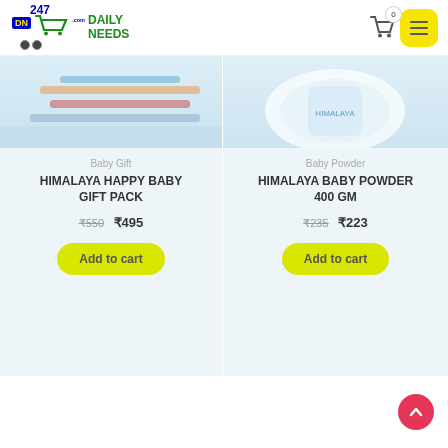247 DN Daily Needs — 0 items in cart
[Figure (photo): Product image strip for Himalaya Happy Baby Gift Pack (partial, cropped at top)]
[Figure (photo): Product image strip for Himalaya Baby Powder 400gm (partial, cropped at top)]
Baby Gift
HIMALAYA HAPPY BABY GIFT PACK
₹550  ₹495
Add to cart
Baby Powder
HIMALAYA BABY POWDER 400 gm
₹235  ₹223
Add to cart